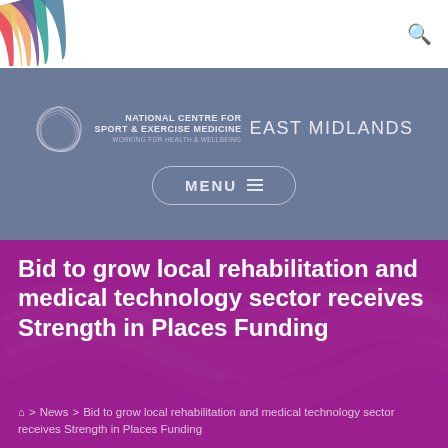[Figure (logo): Colorful diagonal ribbon/weave logo in top left corner]
[Figure (logo): National Centre for Sport & Exercise Medicine East Midlands logo with circular swirl and text]
MENU ≡
Bid to grow local rehabilitation and medical technology sector receives Strength in Places Funding
⌂ > News > Bid to grow local rehabilitation and medical technology sector receives Strength in Places Funding